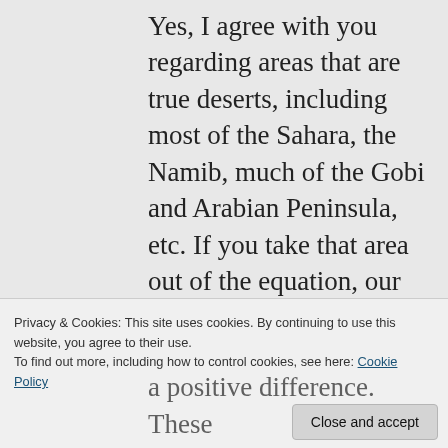Yes, I agree with you regarding areas that are true deserts, including most of the Sahara, the Namib, much of the Gobi and Arabian Peninsula, etc. If you take that area out of the equation, our best estimate is that there are about 5 billion ha (1/3 of the the globe's surface area, as
Privacy & Cookies: This site uses cookies. By continuing to use this website, you agree to their use. To find out more, including how to control cookies, see here: Cookie Policy
a positive difference. These